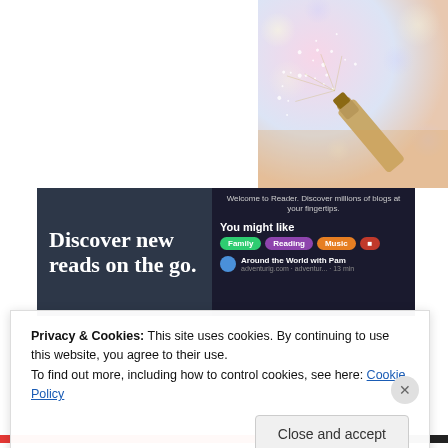[Figure (photo): Champagne bottle being opened with sparkling bubbles and bokeh lights, warm celebratory tone]
[Figure (screenshot): WordPress Reader advertisement banner with dark background showing 'Discover new reads on the go.' text on left and app interface with blog recommendations on right]
Privacy & Cookies: This site uses cookies. By continuing to use this website, you agree to their use.
To find out more, including how to control cookies, see here: Cookie Policy
Close and accept